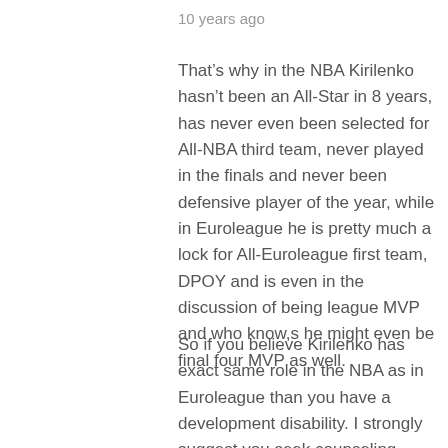10 years ago
That’s why in the NBA Kirilenko hasn’t been an All-Star in 8 years, has never even been selected for All-NBA third team, never played in the finals and never been defensive player of the year, while in Euroleague he is pretty much a lock for All-Euroleague first team, DPOY and is even in the discussion of being league MVP and who know,s he might even be final four MVP as well.
So if you believe Kirilenko has exact same role in the NBA as in Euroleague than you have a development disability. I strongly suggest you seek counseling, there is